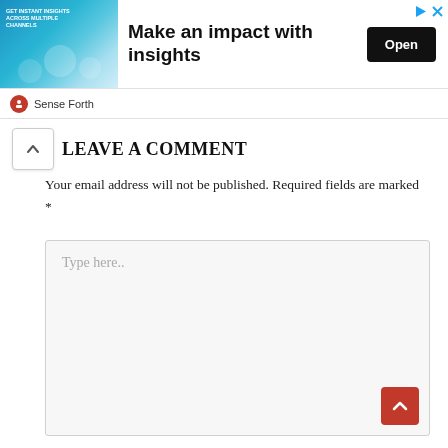[Figure (screenshot): Advertisement banner: image on left showing a woman with marketing channel icons, headline 'Make an impact with insights', Open button on right, with close/play icons top right. 'Sense Forth' label below.]
LEAVE A COMMENT
Your email address will not be published. Required fields are marked *
[Figure (screenshot): Comment text area input field with placeholder text 'Type here..']